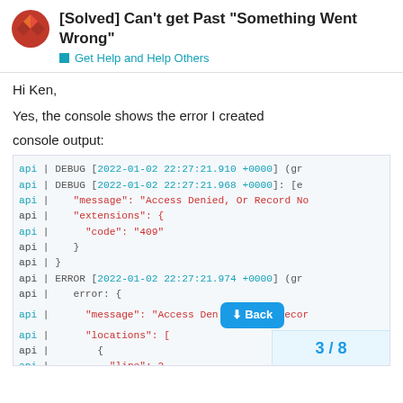[Solved] Can't get Past "Something Went Wrong" — Get Help and Help Others
Hi Ken,
Yes, the console shows the error I created
console output:
[Figure (screenshot): Console log output showing DEBUG and ERROR messages with timestamps [2022-01-02 22:27:21.910 +0000] and [2022-01-02 22:27:21.974 +0000], including Access Denied error with code 409 and locations array with line 2. A 'Back' button overlay and page navigation '3/8' are visible.]